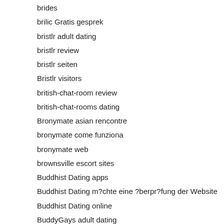brides
brilic Gratis gesprek
bristlr adult dating
bristlr review
bristlr seiten
Bristlr visitors
british-chat-room review
british-chat-rooms dating
Bronymate asian rencontre
bronymate come funziona
bronymate web
brownsville escort sites
Buddhist Dating apps
Buddhist Dating m?chte eine ?berpr?fung der Website
Buddhist Dating online
BuddyGays adult dating
buddygays gratis
buddygays pc